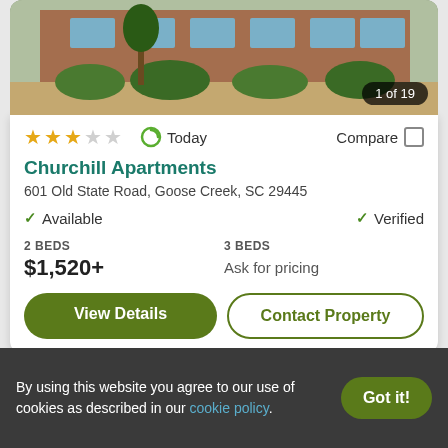[Figure (photo): Exterior photo of Churchill Apartments brick building with hedges, showing '1 of 19' counter]
★★★☆☆  Today  Compare
Churchill Apartments
601 Old State Road, Goose Creek, SC 29445
✓ Available   ✓ Verified
2 BEDS
$1,520+
3 BEDS
Ask for pricing
View Details   Contact Property
[Figure (logo): Orange chevron/roof logo on white card]
By using this website you agree to our use of cookies as described in our cookie policy.   Got it!